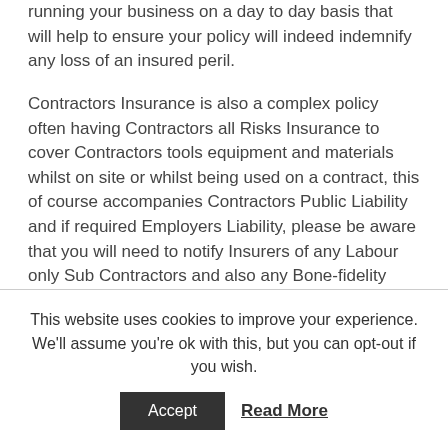running your business on a day to day basis that will help to ensure your policy will indeed indemnify any loss of an insured peril.
Contractors Insurance is also a complex policy often having Contractors all Risks Insurance to cover Contractors tools equipment and materials whilst on site or whilst being used on a contract, this of course accompanies Contractors Public Liability and if required Employers Liability, please be aware that you will need to notify Insurers of any Labour only Sub Contractors and also any Bone-fidelity Sub contractors as to ensure you are fully protected in the event of such a claim arising.
This website uses cookies to improve your experience. We'll assume you're ok with this, but you can opt-out if you wish.
Accept | Read More